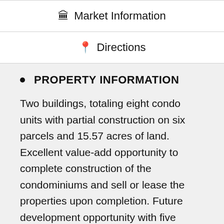Market Information
Directions
PROPERTY INFORMATION
Two buildings, totaling eight condo units with partial construction on six parcels and 15.57 acres of land. Excellent value-add opportunity to complete construction of the condominiums and sell or lease the properties upon completion. Future development opportunity with five additional undeveloped parcels. The condo units feature a double master style set-up with an open layout, vaulted living room, gas fireplace, and large windows allowing for